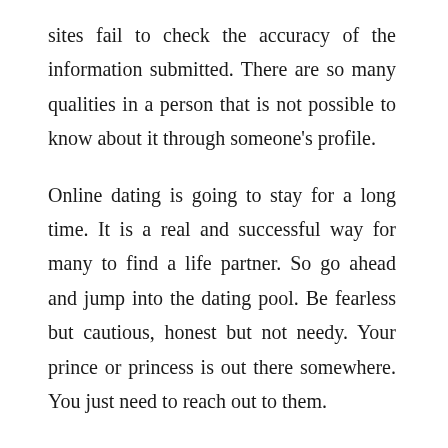sites fail to check the accuracy of the information submitted. There are so many qualities in a person that is not possible to know about it through someone's profile.

Online dating is going to stay for a long time. It is a real and successful way for many to find a life partner. So go ahead and jump into the dating pool. Be fearless but cautious, honest but not needy. Your prince or princess is out there somewhere. You just need to reach out to them.